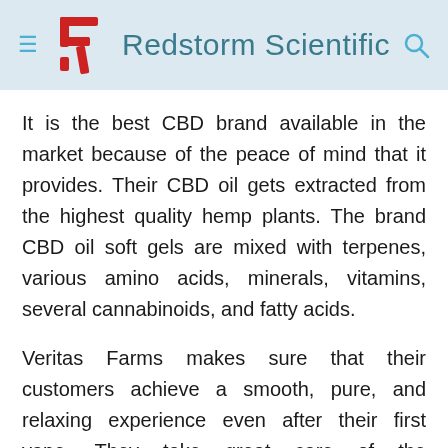Redstorm Scientific
It is the best CBD brand available in the market because of the peace of mind that it provides. Their CBD oil gets extracted from the highest quality hemp plants. The brand CBD oil soft gels are mixed with terpenes, various amino acids, minerals, vitamins, several cannabinoids, and fatty acids.
Veritas Farms makes sure that their customers achieve a smooth, pure, and relaxing experience even after their first vape. They take great care of the sustainability and quality of their CBD